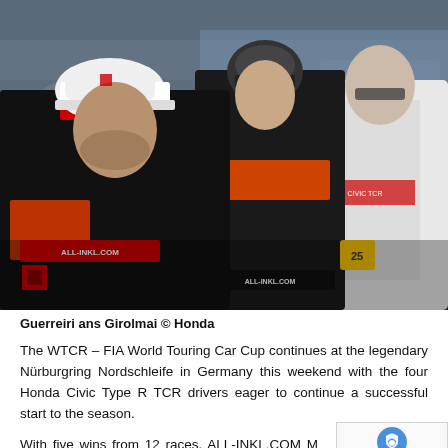[Figure (photo): Three people in motorsport racing suits standing and talking. The two on the left wear black and red ALL-INKL.COM racing suits with Honda logos. The person on the right wears a white Honda Civic TCR jacket. Background shows a racing paddock area.]
Guerreiri ans Girolmai © Honda
The WTCR – FIA World Touring Car Cup continues at the legendary Nürburgring Nordschleife in Germany this weekend with the four Honda Civic Type R TCR drivers eager to continue a successful start to the season.
With five wins from 12 races, ALL-INKL.COM Münnich Motorsport heads the Teams' Championship while their